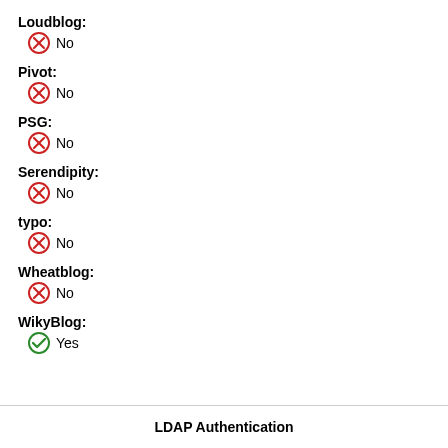Loudblog:
No
Pivot:
No
PSG:
No
Serendipity:
No
typo:
No
Wheatblog:
No
WikyBlog:
Yes
LDAP Authentication